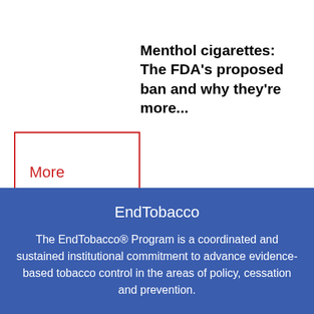Menthol cigarettes: The FDA's proposed ban and why they're more...
More
EndTobacco
The EndTobacco® Program is a coordinated and sustained institutional commitment to advance evidence-based tobacco control in the areas of policy, cessation and prevention.